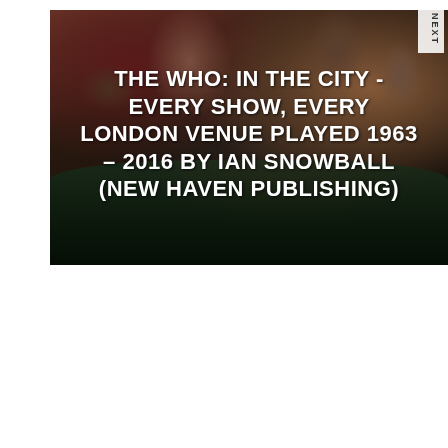[Figure (photo): A vintage photograph of people around a casino gambling table in a dimly lit room. People are seated and standing around a dark felt-covered table with casino chips and cards. The image has warm reddish and dark tones. Bold white text overlaid on the image reads: THE WHO: IN THE CITY - EVERY SHOW, EVERY LONDON VENUE PLAYED 1963 – 2016 BY IAN SNOWBALL (NEW HAVEN PUBLISHING)]
NEXT